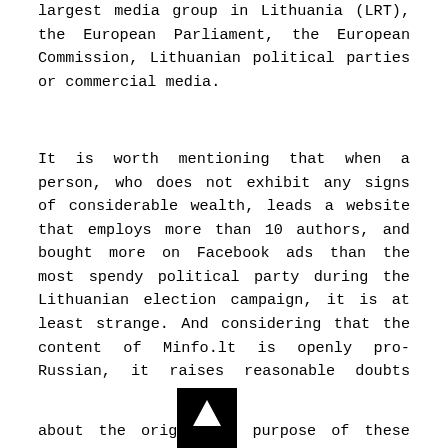largest media group in Lithuania (LRT), the European Parliament, the European Commission, Lithuanian political parties or commercial media.
It is worth mentioning that when a person, who does not exhibit any signs of considerable wealth, leads a website that employs more than 10 authors, and bought more on Facebook ads than the most spendy political party during the Lithuanian election campaign, it is at least strange. And considering that the content of Minfo.lt is openly pro-Russian, it raises reasonable doubts about the origin and purpose of these funds. Moreover, a few years ago, Mr. Gabrilavičius was interviewed by Lithuanian fact-checkers from online television channel Laisvės TV, where he said that he also receives income in foreign countries. At that time, journalists were suspicious about the